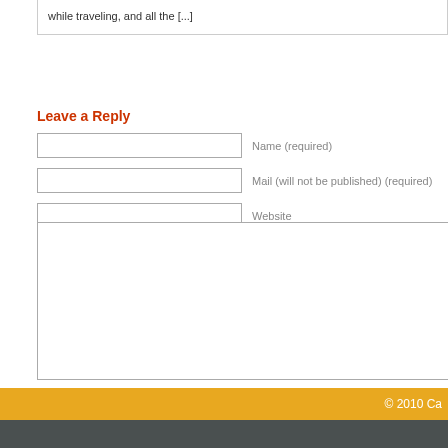while traveling, and all the [...]
Leave a Reply
Name (required)
Mail (will not be published) (required)
Website
© 2010 Ca